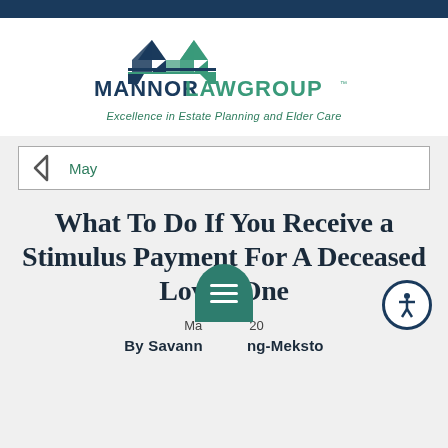[Figure (logo): Mannor Law Group logo with bridge graphic in navy blue and teal green, with tagline 'Excellence in Estate Planning and Elder Care']
May
What To Do If You Receive a Stimulus Payment For A Deceased Loved One
May 2020
By Savannah ng-Meksto